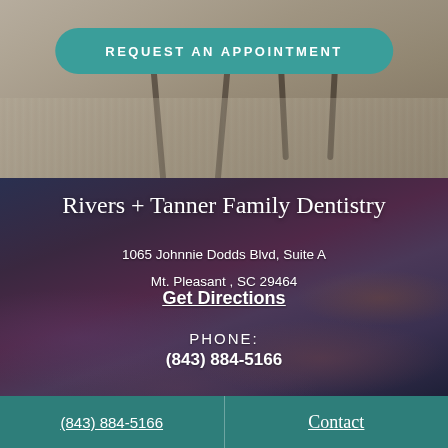[Figure (photo): Dental office waiting room interior with chairs, viewed from above on a textured rug background]
REQUEST AN APPOINTMENT
[Figure (photo): Dramatic purple and orange cloudy sky used as background for contact information section]
Rivers + Tanner Family Dentistry
1065 Johnnie Dodds Blvd, Suite A
Mt. Pleasant , SC 29464
Get Directions
PHONE:
(843) 884-5166
(843) 884-5166
Contact